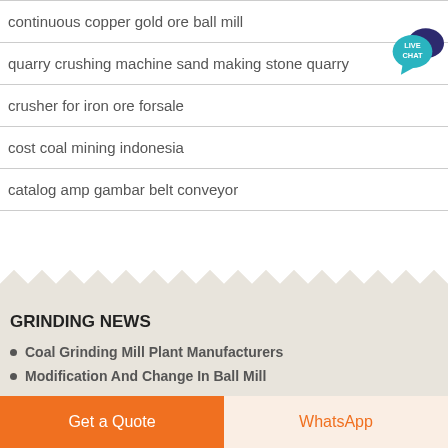continuous copper gold ore ball mill
quarry crushing machine sand making stone quarry
crusher for iron ore forsale
cost coal mining indonesia
catalog amp gambar belt conveyor
GRINDING NEWS
Coal Grinding Mill Plant Manufacturers
Modification And Change In Ball Mill
Get a Quote
WhatsApp